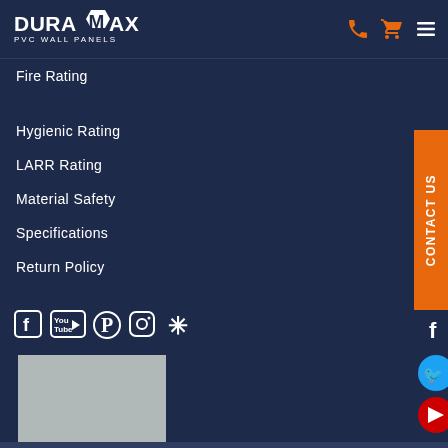DURAMAX PVC WALL PANELS
Fire Rating
Hygienic Rating
LARR Rating
Material Safety
Specifications
Return Policy
[Figure (other): Social media icons row: Facebook, YouTube, Pinterest, Instagram, Yelp]
[Figure (photo): Gray placeholder image box]
[Figure (other): CONTACT US vertical orange tab on right side]
[Figure (other): Right side social media circular icons: Facebook (dark blue), Twitter (blue), YouTube (red)]